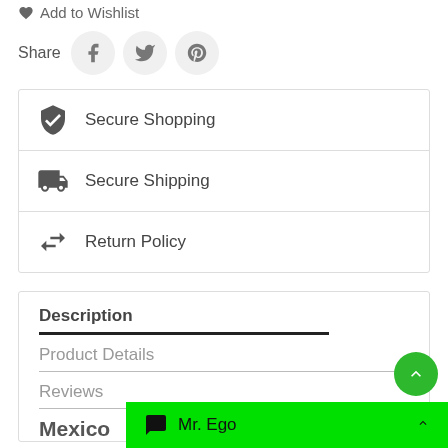Add to Wishlist
Share
[Figure (infographic): Three social share icon buttons: Facebook, Twitter, Pinterest in gray circles]
Secure Shopping
Secure Shipping
Return Policy
Description
Product Details
Reviews
Mexico
Mr. Ego